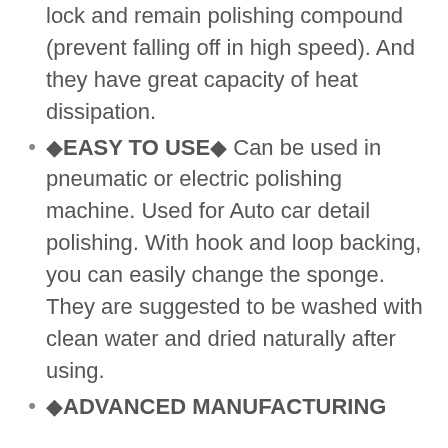lock and remain polishing compound (prevent falling off in high speed). And they have great capacity of heat dissipation.
◆EASY TO USE◆ Can be used in pneumatic or electric polishing machine. Used for Auto car detail polishing. With hook and loop backing, you can easily change the sponge. They are suggested to be washed with clean water and dried naturally after using.
◆ADVANCED MANUFACTURING